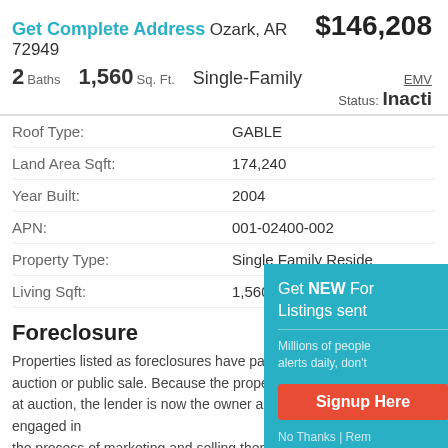Get Complete Address Ozark, AR 72949 $146,208
2 Baths  1,560 Sq. Ft.  Single-Family  EMV  Status: Inactive
| Property Field | Value |
| --- | --- |
| Roof Type: | GABLE |
| Land Area Sqft: | 174,240 |
| Year Built: | 2004 |
| APN: | 001-02400-002 |
| Property Type: | Single Family Residence |
| Living Sqft: | 1,560 |
Foreclosure
Properties listed as foreclosures have passed through auction or public sale. Because the property did not sell at auction, the lender is now the owner and is engaged in the process of marketing and selling them to potential buyers through a local real estate agent or auction house.
[Figure (infographic): Popup overlay: Get NEW Foreclosure Listings sent to you. Millions of people receive alerts daily, don't miss out. Signup Here button. No Thanks | Remind Me Later link.]